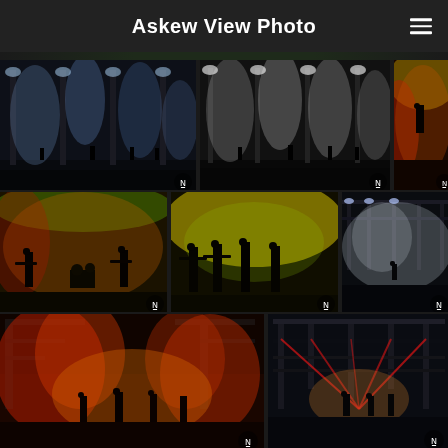Askew View Photo
[Figure (photo): Concert photo 1: wide stage with smoke and dramatic lighting, blue/white tones, silhouetted performers]
[Figure (photo): Concert photo 2: black and white version of wide stage with smoke columns and silhouetted performers]
[Figure (photo): Concert photo 3: guitarist/performer on stage with red and yellow lighting, audience below]
[Figure (photo): Concert photo 4: two guitarists on colorful orange/green lit stage, drummer visible behind]
[Figure (photo): Concert photo 5: four band members silhouetted against yellow/orange/green dramatic stage lighting]
[Figure (photo): Concert photo 6: wide shot of arena stage with white smoke and single performer, large crowd]
[Figure (photo): Concert photo 7: outdoor festival stage with red/orange pyrotechnic smoke and performers, large crowd]
[Figure (photo): Concert photo 8: outdoor festival stage with red laser lights on truss structure and performers, large crowd]